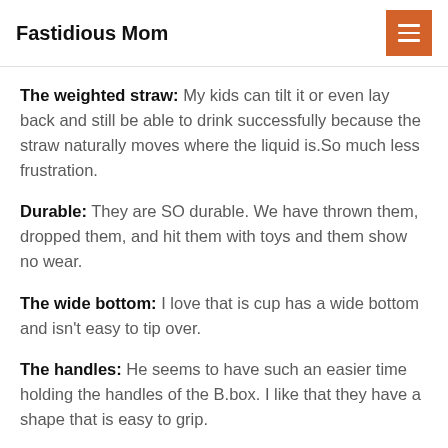Fastidious Mom
The weighted straw: My kids can tilt it or even lay back and still be able to drink successfully because the straw naturally moves where the liquid is.So much less frustration.
Durable: They are SO durable. We have thrown them, dropped them, and hit them with toys and them show no wear.
The wide bottom: I love that is cup has a wide bottom and isn't easy to tip over.
The handles: He seems to have such an easier time holding the handles of the B.box. I like that they have a shape that is easy to grip.